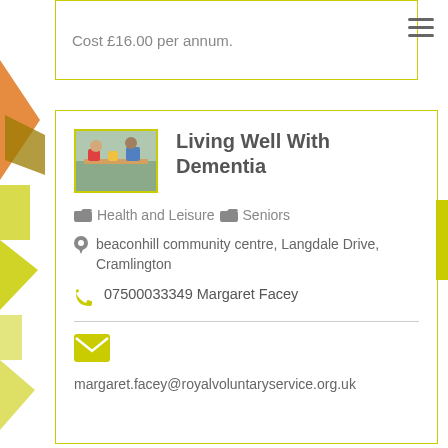Cost £16.00 per annum.
Living Well With Dementia
Health and Leisure   Seniors
beaconhill community centre, Langdale Drive, Cramlington
07500033349 Margaret Facey
margaret.facey@royalvoluntaryservice.org.uk